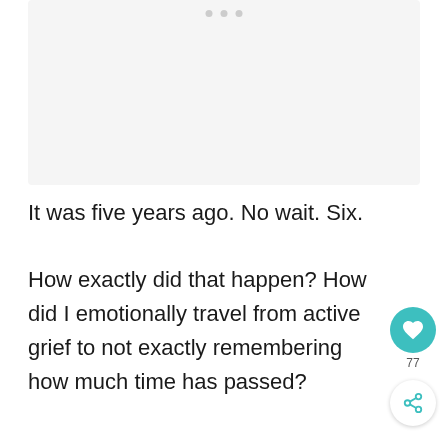[Figure (other): Light gray rectangular image placeholder area at the top of the page with three small gray dots (pagination indicators) near the top center]
It was five years ago. No wait. Six.
How exactly did that happen? How did I emotionally travel from active grief to not exactly remembering how much time has passed?